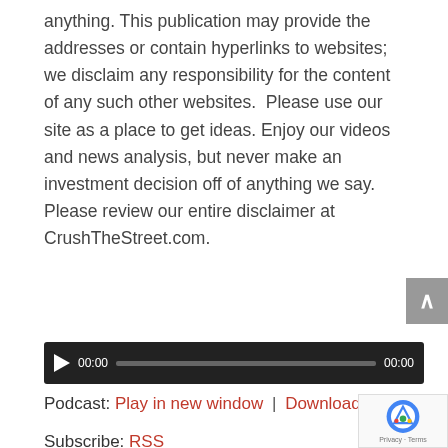anything. This publication may provide the addresses or contain hyperlinks to websites; we disclaim any responsibility for the content of any such other websites.  Please use our site as a place to get ideas. Enjoy our videos and news analysis, but never make an investment decision off of anything we say. Please review our entire disclaimer at CrushTheStreet.com.
[Figure (other): Audio player widget with play button, time display 00:00, progress bar, and end time 00:00 on dark background]
Podcast: Play in new window | Download
Subscribe: RSS